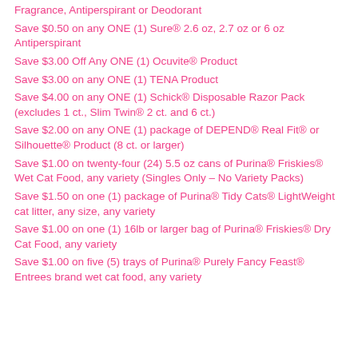Fragrance, Antiperspirant or Deodorant
Save $0.50 on any ONE (1) Sure® 2.6 oz, 2.7 oz or 6 oz Antiperspirant
Save $3.00 Off Any ONE (1) Ocuvite® Product
Save $3.00 on any ONE (1) TENA Product
Save $4.00 on any ONE (1) Schick® Disposable Razor Pack (excludes 1 ct., Slim Twin® 2 ct. and 6 ct.)
Save $2.00 on any ONE (1) package of DEPEND® Real Fit® or Silhouette® Product (8 ct. or larger)
Save $1.00 on twenty-four (24) 5.5 oz cans of Purina® Friskies® Wet Cat Food, any variety (Singles Only – No Variety Packs)
Save $1.50 on one (1) package of Purina® Tidy Cats® LightWeight cat litter, any size, any variety
Save $1.00 on one (1) 16lb or larger bag of Purina® Friskies® Dry Cat Food, any variety
Save $1.00 on five (5) trays of Purina® Purely Fancy Feast® Entrees brand wet cat food, any variety